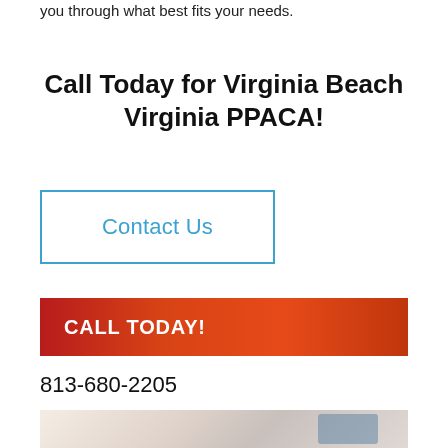you through what best fits your needs.
Call Today for Virginia Beach Virginia PPACA!
Contact Us
CALL TODAY!
813-680-2205
[Figure (photo): Photo of people shaking hands in a business context]